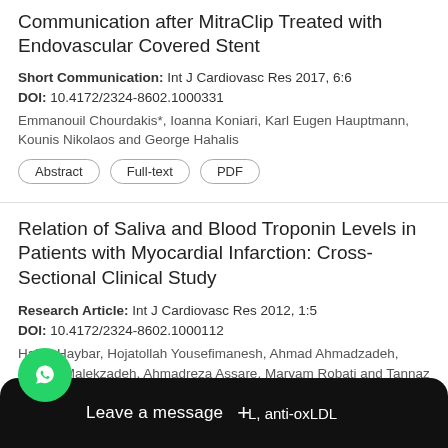Communication after MitraClip Treated with Endovascular Covered Stent
Short Communication: Int J Cardiovasc Res 2017, 6:6
DOI: 10.4172/2324-8602.1000331
Emmanouil Chourdakis*, Ioanna Koniari, Karl Eugen Hauptmann, Kounis Nikolaos and George Hahalis
Abstract | Full-text | PDF
Relation of Saliva and Blood Troponin Levels in Patients with Myocardial Infarction: Cross-Sectional Clinical Study
Research Article: Int J Cardiovasc Res 2012, 1:5
DOI: 10.4172/2324-8602.1000112
Habib Haybar, Hojatollah Yousefimanesh, Ahmad Ahmadzadeh, Hosein Malekzadeh, Ahmadreza Assare, Maryam Robati and Tannaz Nikjoofar
Abstract | Full-text | PDF
L, anti-oxLDL Anti... ...in Patients